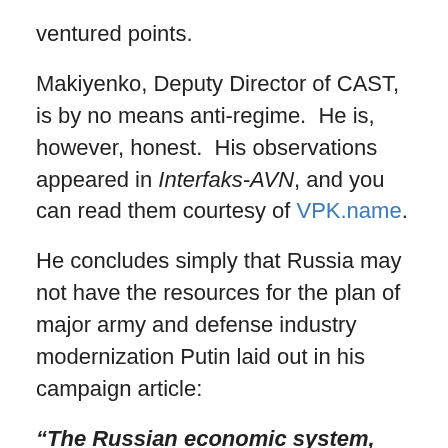ventured points.
Makiyenko, Deputy Director of CAST, is by no means anti-regime.  He is, however, honest.  His observations appeared in Interfaks-AVN, and you can read them courtesy of VPK.name.
He concludes simply that Russia may not have the resources for the plan of major army and defense industry modernization Putin laid out in his campaign article:
“The Russian economic system, which, with oil prices at 100 dollars a barrel, provides only four percent GDP growth, isn’t capable of being the base for realizing the plans outlined.”
AVN says Makiyenko doesn’t exclude that, owing to insufficient budgetary resources, the Finance Ministry will